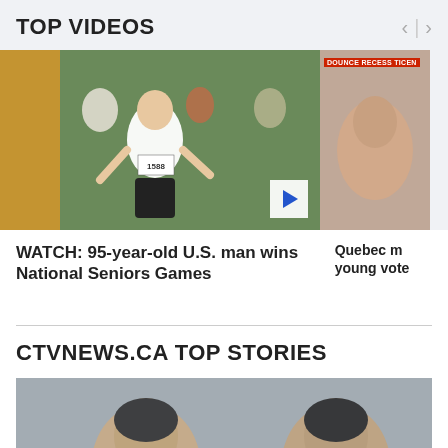TOP VIDEOS
[Figure (photo): Elderly runner wearing bib number 1588 at National Seniors Games athletic event, with other athletes and spectators in background. A blue play button is visible in the bottom right corner of the image.]
[Figure (photo): Partially visible second video thumbnail showing a blurred face with a red news ticker overlay.]
WATCH: 95-year-old U.S. man wins National Seniors Games
Quebec m... young vote...
CTVNEWS.CA TOP STORIES
[Figure (photo): Cropped photo showing two people with dark hair, partially visible at bottom of page.]